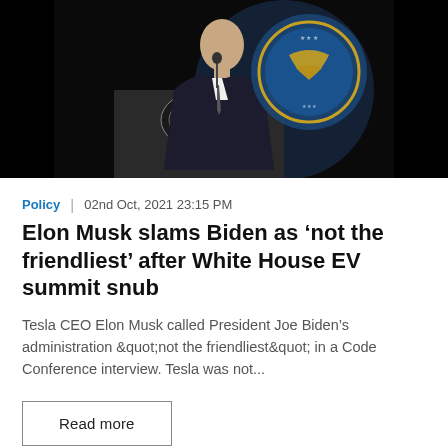[Figure (photo): A man in a dark suit speaking at a podium with the Presidential seal, in front of a dark background with a circular blue emblem visible behind him.]
Policy | 02nd Oct, 2021 23:15 PM
Elon Musk slams Biden as ‘not the friendliest’ after White House EV summit snub
Tesla CEO Elon Musk called President Joe Biden’s administration &quot;not the friendliest&quot; in a Code Conference interview. Tesla was not...
Read more